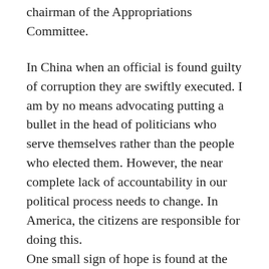chairman of the Appropriations Committee.
In China when an official is found guilty of corruption they are swiftly executed. I am by no means advocating putting a bullet in the head of politicians who serve themselves rather than the people who elected them. However, the near complete lack of accountability in our political process needs to change. In America, the citizens are responsible for doing this.
One small sign of hope is found at the end of the Alaska Daily News article on October 21, 2005:
“Alaskans have filled the newspapers with letters, signed petitions, and sent letters to Congress offering to sacrifice the less-than-necessary